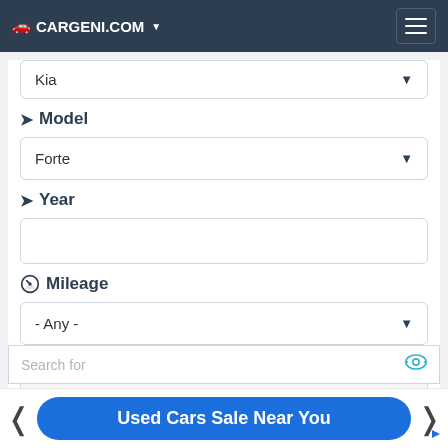CARGENI.COM
Kia
Model
Forte
Year
Mileage
- Any -
Condition
Search for
Used Cars Sale Near You